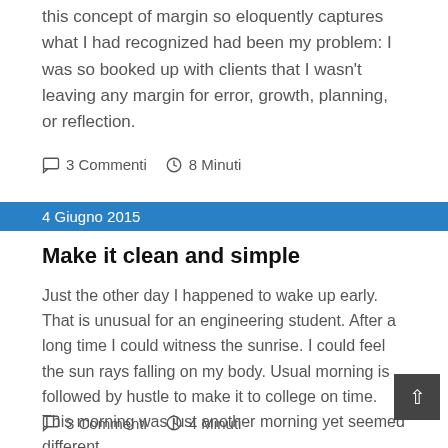this concept of margin so eloquently captures what I had recognized had been my problem: I was so booked up with clients that I wasn't leaving any margin for error, growth, planning, or reflection.
3 Commenti   8 Minuti
4 Giugno 2015
Make it clean and simple
Just the other day I happened to wake up early. That is unusual for an engineering student. After a long time I could witness the sunrise. I could feel the sun rays falling on my body. Usual morning is followed by hustle to make it to college on time. This morning was just another morning yet seemed different.
3 Commenti   4 Minuti